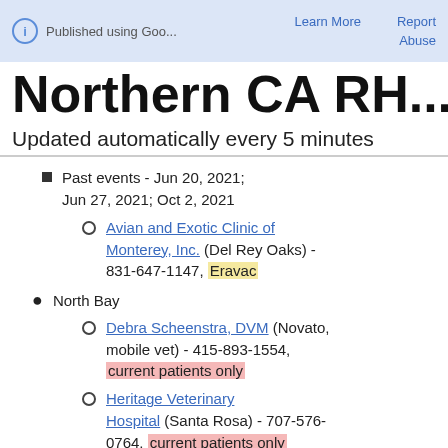Published using Goo...  Learn More  Report  Abuse
Northern CA RH...
Updated automatically every 5 minutes
Past events - Jun 20, 2021; Jun 27, 2021; Oct 2, 2021
Avian and Exotic Clinic of Monterey, Inc. (Del Rey Oaks) - 831-647-1147, Eravac
North Bay
Debra Scheenstra, DVM (Novato, mobile vet) - 415-893-1554, current patients only
Heritage Veterinary Hospital (Santa Rosa) - 707-576-0764, current patients only